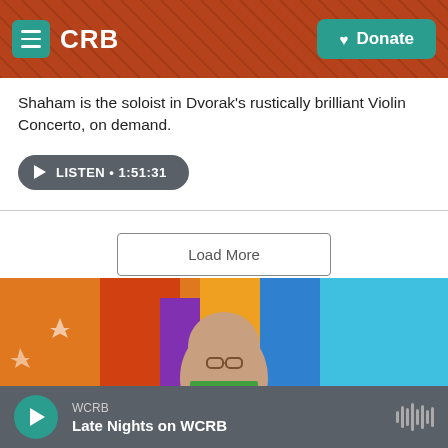CRB | Donate
Shaham is the soloist in Dvorak's rustically brilliant Violin Concerto, on demand.
LISTEN • 1:51:31
Load More
El Puerto Rico
[Figure (photo): Photo of a person wearing glasses, standing in front of colorful mural artwork with bright orange, purple and blue colors.]
WCRB | Late Nights on WCRB